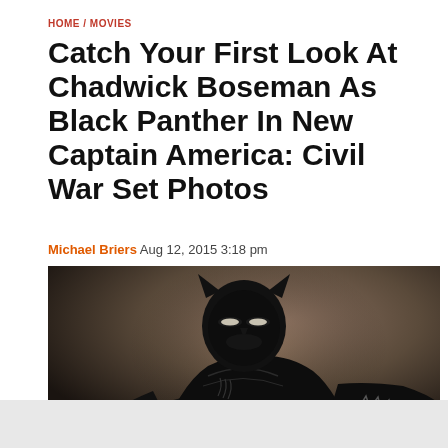HOME / MOVIES
Catch Your First Look At Chadwick Boseman As Black Panther In New Captain America: Civil War Set Photos
Michael Briers Aug 12, 2015 3:18 pm
[Figure (photo): Black Panther character in full black armored suit and mask, promotional concept art for Captain America: Civil War. Dark background with muted brown tones. Character in crouching action pose.]